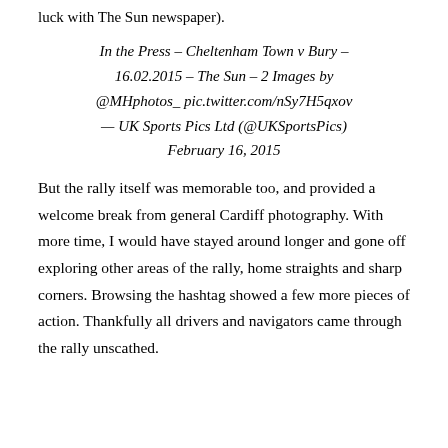luck with The Sun newspaper).
In the Press – Cheltenham Town v Bury – 16.02.2015 – The Sun – 2 Images by @MHphotos_ pic.twitter.com/nSy7H5qxov — UK Sports Pics Ltd (@UKSportsPics) February 16, 2015
But the rally itself was memorable too, and provided a welcome break from general Cardiff photography. With more time, I would have stayed around longer and gone off exploring other areas of the rally, home straights and sharp corners. Browsing the hashtag showed a few more pieces of action. Thankfully all drivers and navigators came through the rally unscathed.